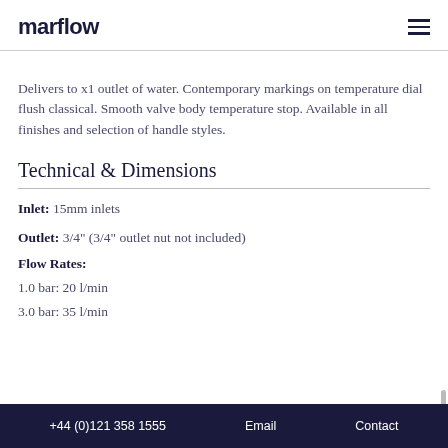marflow
Delivers to x1 outlet of water. Contemporary markings on temperature dial flush classical. Smooth valve body temperature stop. Available in all finishes and selection of handle styles.
Technical & Dimensions
Inlet: 15mm inlets
Outlet: 3/4" (3/4" outlet nut not included)
Flow Rates:
1.0 bar: 20 l/min
3.0 bar: 35 l/min
+44 (0)121 358 1555   Email   Contact